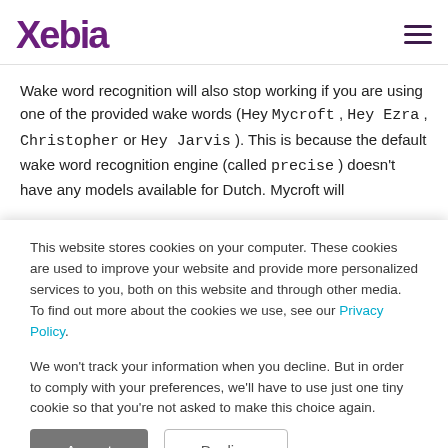Xebia
Wake word recognition will also stop working if you are using one of the provided wake words (Hey Mycroft , Hey Ezra , Christopher or Hey Jarvis ). This is because the default wake word recognition engine (called precise ) doesn't have any models available for Dutch. Mycroft will
This website stores cookies on your computer. These cookies are used to improve your website and provide more personalized services to you, both on this website and through other media. To find out more about the cookies we use, see our Privacy Policy.

We won't track your information when you decline. But in order to comply with your preferences, we'll have to use just one tiny cookie so that you're not asked to make this choice again.
Accept | Decline